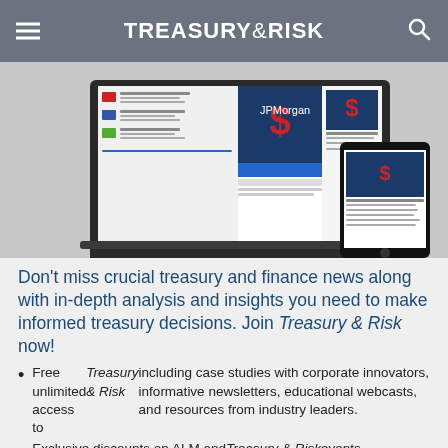TREASURY & RISK
[Figure (screenshot): Laptop and tablet/phone displaying Treasury & Risk website with article thumbnails and dollar sign graphics]
Don't miss crucial treasury and finance news along with in-depth analysis and insights you need to make informed treasury decisions. Join Treasury & Risk now!
Free unlimited access to Treasury & Risk including case studies with corporate innovators, informative newsletters, educational webcasts, and resources from industry leaders.
Exclusive discounts on ALM and Treasury & Risk events.
Access to other award winning ALM